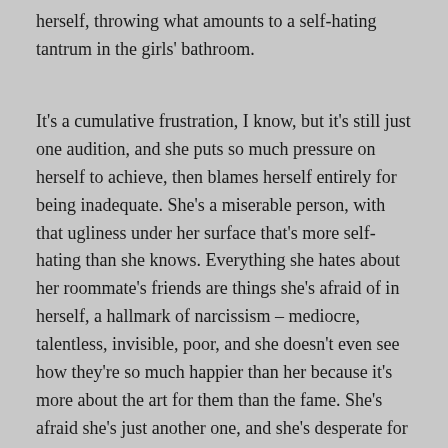herself, throwing what amounts to a self-hating tantrum in the girls' bathroom.
It's a cumulative frustration, I know, but it's still just one audition, and she puts so much pressure on herself to achieve, then blames herself entirely for being inadequate. She's a miserable person, with that ugliness under her surface that's more self-hating than she knows. Everything she hates about her roommate's friends are things she's afraid of in herself, a hallmark of narcissism – mediocre, talentless, invisible, poor, and she doesn't even see how they're so much happier than her because it's more about the art for them than the fame. She's afraid she's just another one, and she's desperate for some kind of external validation that she's got something to offer, that she's the talented one, that she's the star. Whenever she doesn't get that validation, she feels